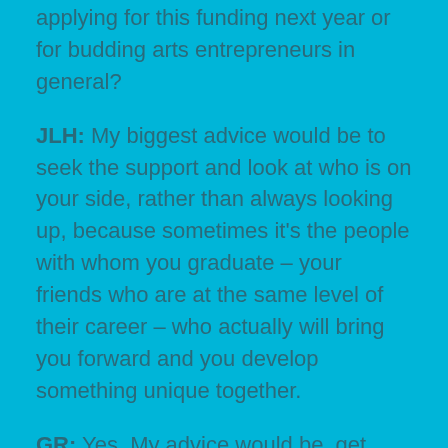applying for this funding next year or for budding arts entrepreneurs in general?
JLH: My biggest advice would be to seek the support and look at who is on your side, rather than always looking up, because sometimes it's the people with whom you graduate – your friends who are at the same level of their career – who actually will bring you forward and you develop something unique together.
GR: Yes. My advice would be, get your work out there as much as possible and find as many people to see it as you can from different walks of life, different ages and different places.